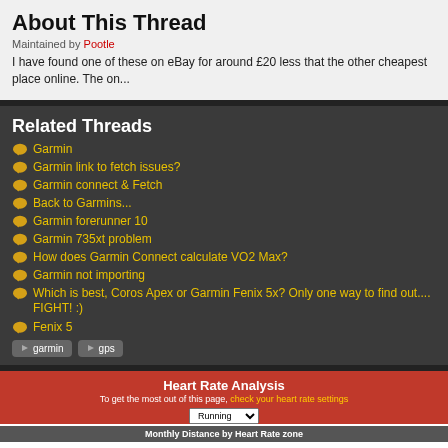About This Thread
Maintained by Pootle
I have found one of these on eBay for around £20 less that the other cheapest place online. The on...
Related Threads
Garmin
Garmin link to fetch issues?
Garmin connect & Fetch
Back to Garmins...
Garmin forerunner 10
Garmin 735xt problem
How does Garmin Connect calculate VO2 Max?
Garmin not importing
Which is best, Coros Apex or Garmin Fenix 5x? Only one way to find out.... FIGHT! :)
Fenix 5
garmin  gps
Heart Rate Analysis
To get the most out of this page, check your heart rate settings
Monthly Distance by Heart Rate zone